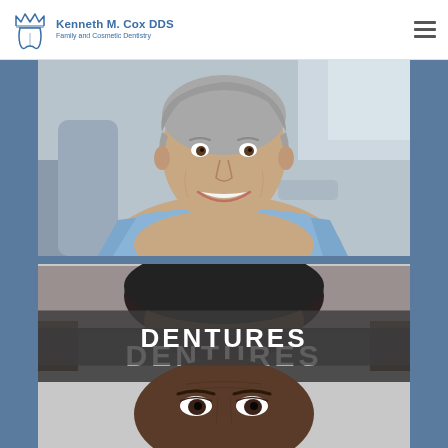Kenneth M. Cox DDS — Family and Cosmetic Dentistry
[Figure (photo): Middle-aged woman with short gray hair smiling in a dental chair, wearing a blue dental bib]
[Figure (photo): Black man's face partially visible behind a dark semi-transparent band reading DENTURES in bold white uppercase letters; another man's eyes and forehead visible below]